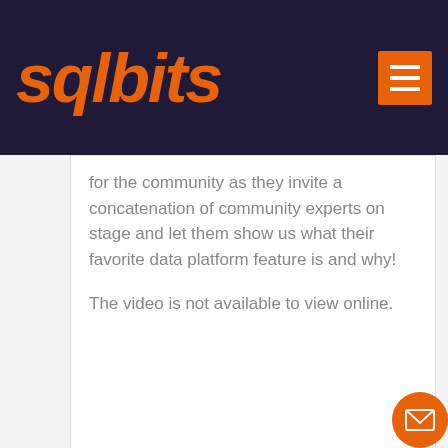sqlbits
for the community as they invite a concatenation of community experts on stage and let them show us what their favorite data platform feature is and why!
The video is not available to view online.
"Cultivating the Catalogue" - Growing Data Governance with Azure Purview Craig Porteous